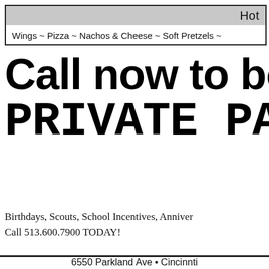Hot
Wings ~ Pizza ~ Nachos & Cheese ~ Soft Pretzels ~
Call now to book yo PRIVATE PARTY!
Birthdays, Scouts, School Incentives, Anniver
Call 513.600.7900 TODAY!
6550 Parkland Ave • Cincinnti